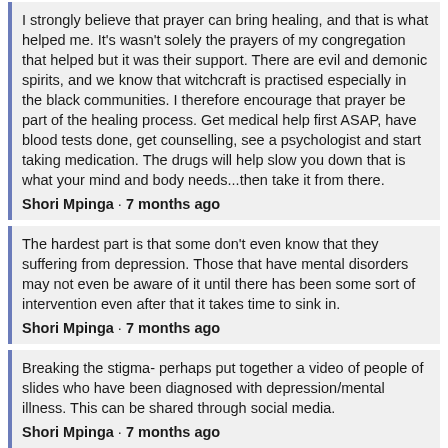I strongly believe that prayer can bring healing, and that is what helped me. It's wasn't solely the prayers of my congregation that helped but it was their support. There are evil and demonic spirits, and we know that witchcraft is practised especially in the black communities. I therefore encourage that prayer be part of the healing process. Get medical help first ASAP, have blood tests done, get counselling, see a psychologist and start taking medication. The drugs will help slow you down that is what your mind and body needs...then take it from there.
Shori Mpinga · 7 months ago
The hardest part is that some don't even know that they suffering from depression. Those that have mental disorders may not even be aware of it until there has been some sort of intervention even after that it takes time to sink in.
Shori Mpinga · 7 months ago
Breaking the stigma- perhaps put together a video of people of slides who have been diagnosed with depression/mental illness. This can be shared through social media.
Shori Mpinga · 7 months ago
If depression is not treated one can go on to have severe mental illness. Please don't ignore it, get help, talk to someone about it. It was the support of my family and my church members that helped me through. While I was away from home, it was my running coach that